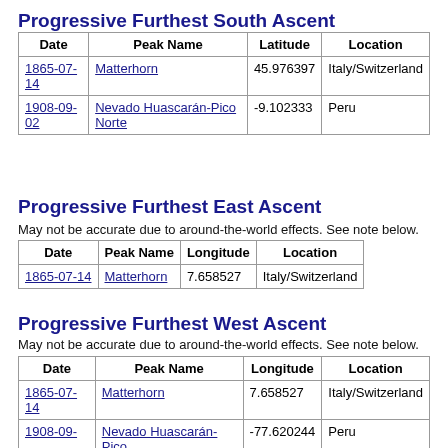Progressive Furthest South Ascent
| Date | Peak Name | Latitude | Location |
| --- | --- | --- | --- |
| 1865-07-14 | Matterhorn | 45.976397 | Italy/Switzerland |
| 1908-09-02 | Nevado Huascarán-Pico Norte | -9.102333 | Peru |
Progressive Furthest East Ascent
May not be accurate due to around-the-world effects. See note below.
| Date | Peak Name | Longitude | Location |
| --- | --- | --- | --- |
| 1865-07-14 | Matterhorn | 7.658527 | Italy/Switzerland |
Progressive Furthest West Ascent
May not be accurate due to around-the-world effects. See note below.
| Date | Peak Name | Longitude | Location |
| --- | --- | --- | --- |
| 1865-07-14 | Matterhorn | 7.658527 | Italy/Switzerland |
| 1908-09- | Nevado Huascarán-Pico | -77.620244 | Peru |